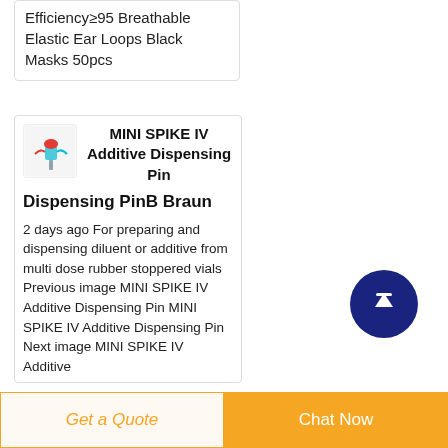Efficiency≥95 Breathable Elastic Ear Loops Black Masks 50pcs
MINI SPIKE IV Additive Dispensing PinB Braun
2 days ago For preparing and dispensing diluent or additive from multi dose rubber stoppered vials Previous image MINI SPIKE IV Additive Dispensing Pin MINI SPIKE IV Additive Dispensing Pin Next image MINI SPIKE IV Additive
[Figure (other): Small product photo of MINI SPIKE IV Additive Dispensing Pin showing a medical spike device with red and blue components]
[Figure (other): Dark navy blue circular scroll-to-top button with white upward arrow icon]
Get a Quote   Chat Now